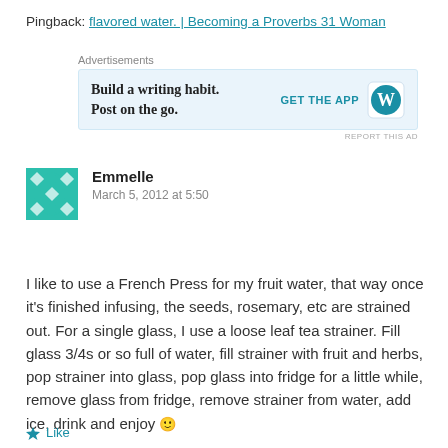Pingback: flavored water. | Becoming a Proverbs 31 Woman
[Figure (screenshot): Advertisement banner: 'Build a writing habit. Post on the go.' with GET THE APP button and WordPress logo]
Emmelle
March 5, 2012 at 5:50
I like to use a French Press for my fruit water, that way once it's finished infusing, the seeds, rosemary, etc are strained out. For a single glass, I use a loose leaf tea strainer. Fill glass 3/4s or so full of water, fill strainer with fruit and herbs, pop strainer into glass, pop glass into fridge for a little while, remove glass from fridge, remove strainer from water, add ice, drink and enjoy 🙂
Like